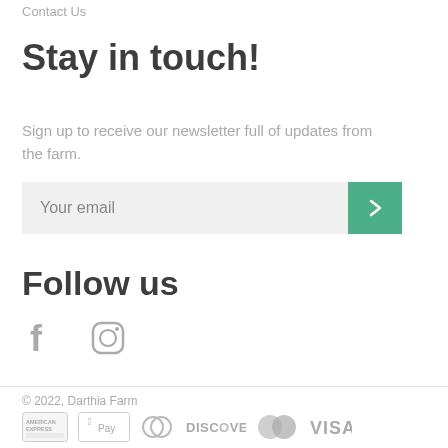Contact Us
Stay in touch!
Sign up to receive our newsletter full of updates from the farm.
[Figure (screenshot): Email newsletter signup form with a light gray input field labeled 'Your email' and a green submit button with a right-arrow chevron.]
Follow us
[Figure (infographic): Social media icons: Facebook (f) and Instagram (camera) in gray.]
© 2022, Darthia Farm
[Figure (infographic): Payment method icons: American Express, Apple Pay, Diners Club, Discover, MasterCard, Visa — all in gray.]